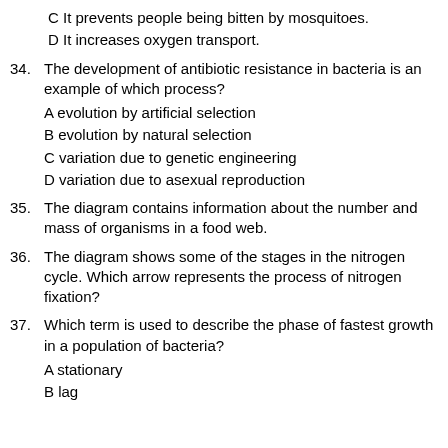C It prevents people being bitten by mosquitoes.
D It increases oxygen transport.
34. The development of antibiotic resistance in bacteria is an example of which process?
A evolution by artificial selection
B evolution by natural selection
C variation due to genetic engineering
D variation due to asexual reproduction
35. The diagram contains information about the number and mass of organisms in a food web.
36. The diagram shows some of the stages in the nitrogen cycle. Which arrow represents the process of nitrogen fixation?
37. Which term is used to describe the phase of fastest growth in a population of bacteria?
A stationary
B lag